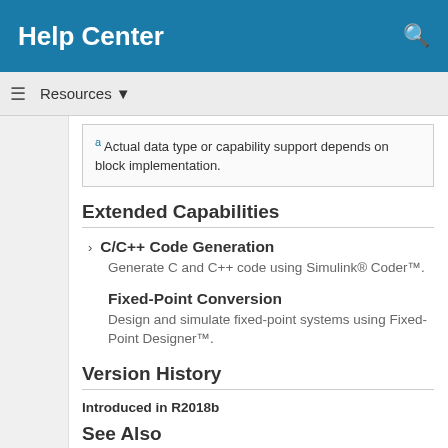Help Center
a Actual data type or capability support depends on block implementation.
Extended Capabilities
C/C++ Code Generation
Generate C and C++ code using Simulink® Coder™.
Fixed-Point Conversion
Design and simulate fixed-point systems using Fixed-Point Designer™.
Version History
Introduced in R2018b
See Also